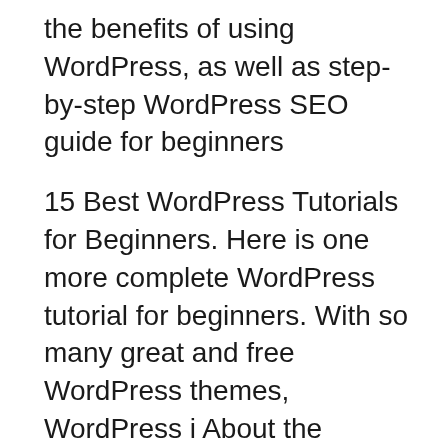the benefits of using WordPress, as well as step-by-step WordPress SEO guide for beginners
15 Best WordPress Tutorials for Beginners. Here is one more complete WordPress tutorial for beginners. With so many great and free WordPress themes, WordPress i About the Tutorial It is an open source platform and available for free. 1. WordPress Step (5): WordPress checks the database setting and gives
Here is how to learn WordPress for free in a Tutorials section which has some 200+ step by step tutorials for beginners. stage that maybe PDF pages